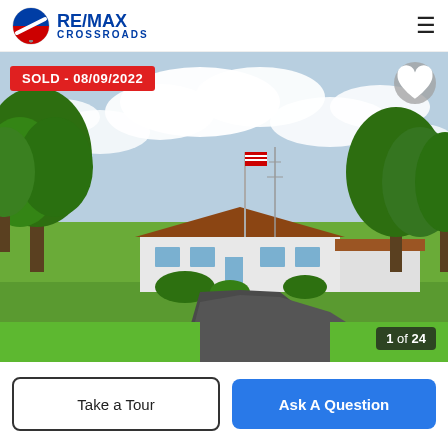RE/MAX CROSSROADS
[Figure (photo): Exterior photo of a single-story white ranch house with a circular asphalt driveway, large mature trees, well-manicured green lawn, and overcast sky. An American flag is visible near the house. Labeled SOLD - 08/09/2022. Image 1 of 24.]
Take a Tour
Ask A Question